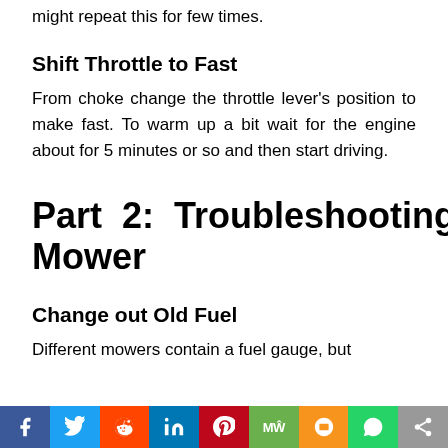might repeat this for few times.
Shift Throttle to Fast
From choke change the throttle lever's position to make fast. To warm up a bit wait for the engine about for 5 minutes or so and then start driving.
Part 2: Troubleshooting Your Mower
Change out Old Fuel
Different mowers contain a fuel gauge, but